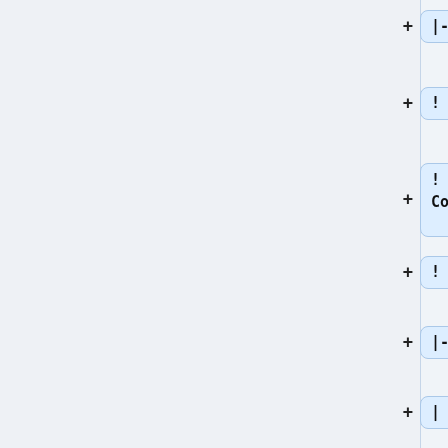|-
! Outputs
!
Components
! Recipe
|-
|
*
[[Image:Vessel_bag.png|link=Bag
(Potassium
Hydroxide)
|32px|alt=
Bag
(Potassium